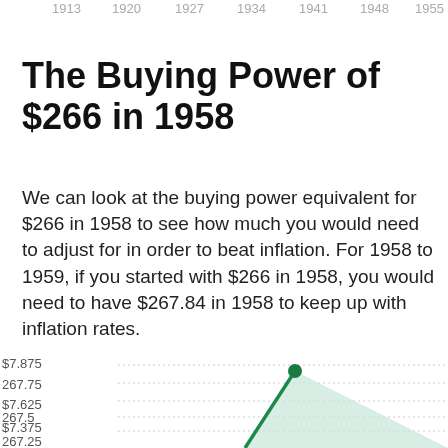[Figure (line-chart): Top portion of a line chart showing years 1913–1955 on x-axis, partially visible at top of page]
The Buying Power of $266 in 1958
We can look at the buying power equivalent for $266 in 1958 to see how much you would need to adjust for in order to beat inflation. For 1958 to 1959, if you started with $266 in 1958, you would need to have $267.84 in 1958 to keep up with inflation rates.
[Figure (area-chart): Bottom portion of an area/line chart showing values from approximately $267.25 to $267.875 with a rising green line and shaded area]